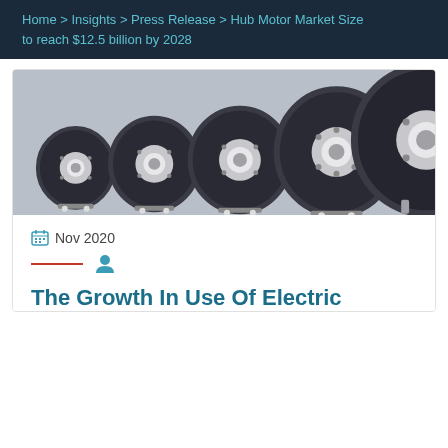Home > Insights > Press Release > Hub Motor Market Size to reach $12.5 billion by 2028
[Figure (photo): Five hub motors of increasing sizes arranged in a row on a gray background, each with a dark circular outer ring and silver hub center.]
Nov 2020
The Growth In Use Of Electric